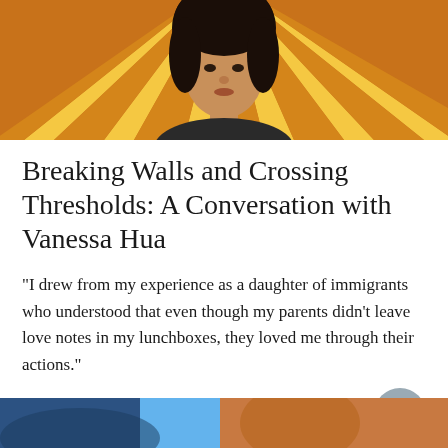[Figure (photo): Portrait of a person (Vanessa Hua) against a colorful sunburst background of yellow, orange, and red diagonal stripes]
Breaking Walls and Crossing Thresholds: A Conversation with Vanessa Hua
“I drew from my experience as a daughter of immigrants who understood that even though my parents didn’t leave love notes in my lunchboxes, they loved me through their actions.”
Profiles | July 2022 | By Lolita Pierce
[Figure (photo): Partial view of another article's hero image at the bottom of the page, showing blue and brown tones]